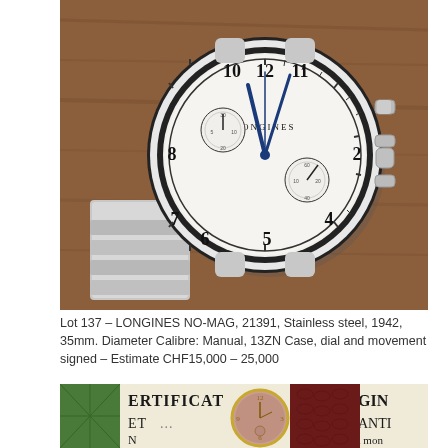[Figure (photo): Close-up photograph of a Longines NO-MAG stainless steel chronograph wristwatch with white dial, black Arabic numerals, blue steel hands, two sub-dials, a tachymetre bezel, and a stainless steel bracelet, photographed on a wooden surface.]
Lot 137 – LONGINES NO-MAG, 21391, Stainless steel, 1942, 35mm. Diameter Calibre: Manual, 13ZN Case, dial and movement signed – Estimate CHF15,000 – 25,000
[Figure (photo): Photograph showing a vintage watch with a rose/salmon-colored dial and gold Arabic numerals, lying on top of a green and white certificate document (CERTIFICAT D'ORIGINE ET DE GARANTIE), with a dark red/burgundy crocodile strap visible.]